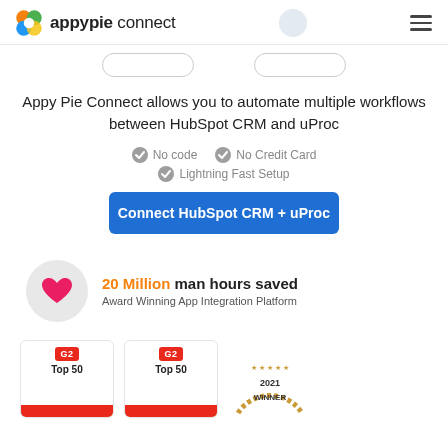appypie connect
Appy Pie Connect allows you to automate multiple workflows between HubSpot CRM and uProc
No code
No Credit Card
Lightning Fast Setup
Connect HubSpot CRM + uProc
20 Million man hours saved
Award Winning App Integration Platform
[Figure (logo): G2 Top 50 badge (first)]
[Figure (logo): G2 Top 50 badge (second)]
[Figure (logo): 2021 Winner award badge]